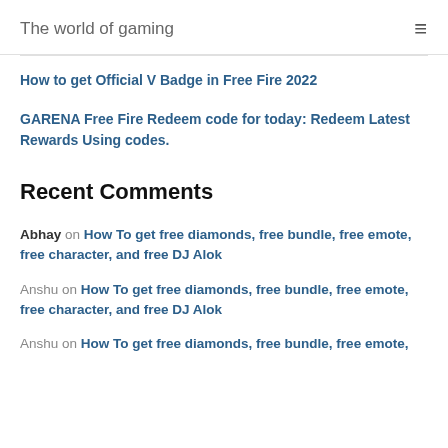The world of gaming
How to get Official V Badge in Free Fire 2022
GARENA Free Fire Redeem code for today: Redeem Latest Rewards Using codes.
Recent Comments
Abhay on How To get free diamonds, free bundle, free emote, free character, and free DJ Alok
Anshu on How To get free diamonds, free bundle, free emote, free character, and free DJ Alok
Anshu on How To get free diamonds, free bundle, free emote,